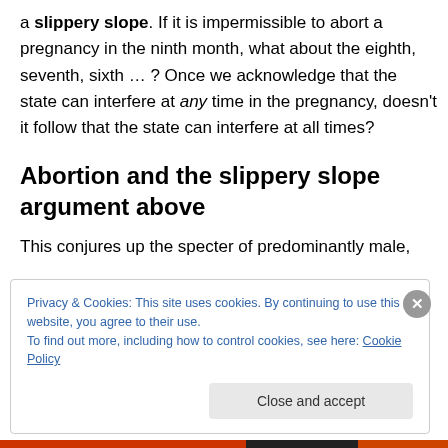a slippery slope. If it is impermissible to abort a pregnancy in the ninth month, what about the eighth, seventh, sixth … ? Once we acknowledge that the state can interfere at any time in the pregnancy, doesn't it follow that the state can interfere at all times?
Abortion and the slippery slope argument above
This conjures up the specter of predominantly male,
Privacy & Cookies: This site uses cookies. By continuing to use this website, you agree to their use.
To find out more, including how to control cookies, see here: Cookie Policy